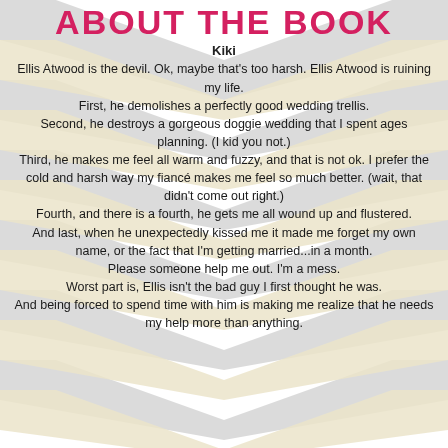ABOUT THE BOOK
Kiki
Ellis Atwood is the devil. Ok, maybe that's too harsh. Ellis Atwood is ruining my life.
First, he demolishes a perfectly good wedding trellis.
Second, he destroys a gorgeous doggie wedding that I spent ages planning. (I kid you not.)
Third, he makes me feel all warm and fuzzy, and that is not ok. I prefer the cold and harsh way my fiancé makes me feel so much better. (wait, that didn't come out right.)
Fourth, and there is a fourth, he gets me all wound up and flustered.
And last, when he unexpectedly kissed me it made me forget my own name, or the fact that I'm getting married...in a month.
Please someone help me out. I'm a mess.
Worst part is, Ellis isn't the bad guy I first thought he was.
And being forced to spend time with him is making me realize that he needs my help more than anything.